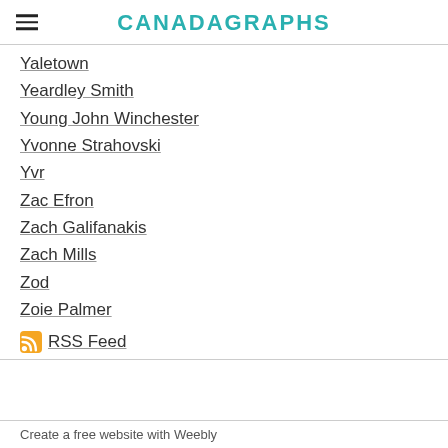CANADAGRAPHS
Yaletown
Yeardley Smith
Young John Winchester
Yvonne Strahovski
Yvr
Zac Efron
Zach Galifanakis
Zach Mills
Zod
Zoie Palmer
RSS Feed
Create a free website with Weebly